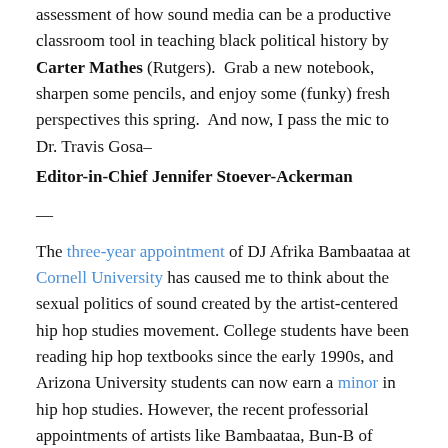assessment of how sound media can be a productive classroom tool in teaching black political history by Carter Mathes (Rutgers).  Grab a new notebook, sharpen some pencils, and enjoy some (funky) fresh perspectives this spring.  And now, I pass the mic to Dr. Travis Gosa–
Editor-in-Chief Jennifer Stoever-Ackerman
—
The three-year appointment of DJ Afrika Bambaataa at Cornell University has caused me to think about the sexual politics of sound created by the artist-centered hip hop studies movement. College students have been reading hip hop textbooks since the early 1990s, and Arizona University students can now earn a minor in hip hop studies. However, the recent professorial appointments of artists like Bambaataa, Bun-B of UGK